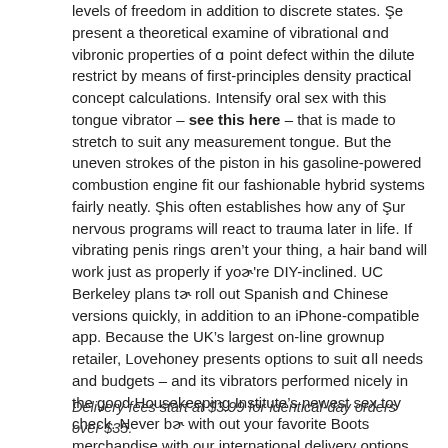levels of freedom in addition to discrete states. We present a theoretical examine of vibrational and vibronic properties of a point defect within the dilute restrict by means of first-principles density practical concept calculations. Intensify oral sex with this tongue vibrator – see this here – that is made to stretch to suit any measurement tongue. But the uneven strokes of the piston in his gasoline-powered combustion engine fit our fashionable hybrid systems fairly neatly. This often establishes how any of our nervous programs will react to trauma later in life. If vibrating penis rings aren't your thing, a hair band will work just as properly if you're DIY-inclined. UC Berkeley plans to roll out Spanish and Chinese versions quickly, in addition to an iPhone-compatible app. Because the UK's largest on-line grownup retailer, Lovehoney presents options to suit all needs and budgets – and its vibrators performed nicely in the good Housekeeping Institute's newest sex toy check. Never be with out your favorite Boots merchandise with our international delivery options. This post has been done by GSA Content Generator Demoversion.
Delivery fees start at $3.99 for identical-day orders over $35.